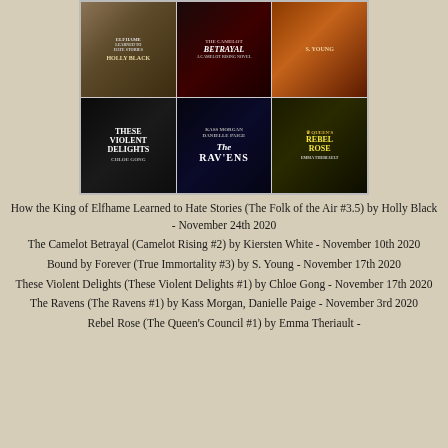[Figure (illustration): A 2x3 grid of book covers: How the King of Elfhame Learned to Hate Stories by Holly Black, The Camelot Betrayal by Kiersten White, Bound by Forever by S. Young, These Violent Delights by Chloe Gong, The Ravens by Kass Morgan and Danielle Paige, Rebel Rose by Emma Theriault]
How the King of Elfhame Learned to Hate Stories (The Folk of the Air #3.5) by Holly Black - November 24th 2020
The Camelot Betrayal (Camelot Rising #2) by Kiersten White - November 10th 2020
Bound by Forever (True Immortality #3) by S. Young - November 17th 2020
These Violent Delights (These Violent Delights #1) by Chloe Gong - November 17th 2020
The Ravens (The Ravens #1) by Kass Morgan, Danielle Paige - November 3rd 2020
Rebel Rose (The Queen's Council #1) by Emma Theriault -